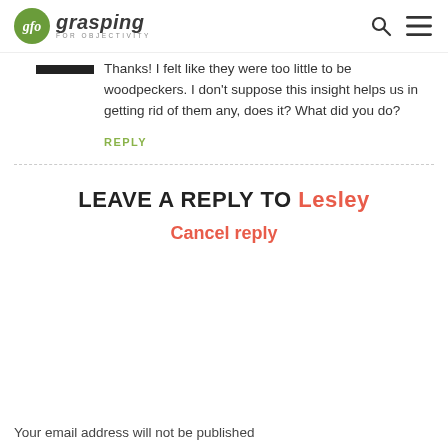glo grasping FOR OBJECTIVITY
Thanks! I felt like they were too little to be woodpeckers. I don't suppose this insight helps us in getting rid of them any, does it? What did you do?
REPLY
LEAVE A REPLY TO Lesley
Cancel reply
Your email address will not be published